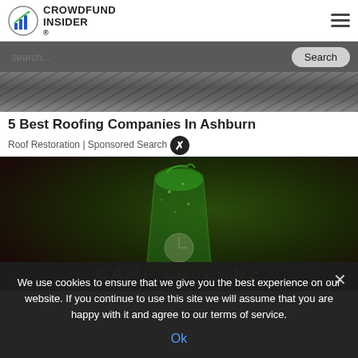CROWDFUND INSIDER
search...
[Figure (photo): Partial view of a damaged rooftop with shingles]
5 Best Roofing Companies In Ashburn
Roof Restoration | Sponsored Search
[Figure (photo): Dark advertisement image for Camp Lejeune free case review, showing a green liquid splashing into a glass]
We use cookies to ensure that we give you the best experience on our website. If you continue to use this site we will assume that you are happy with it and agree to our terms of service.
Ok